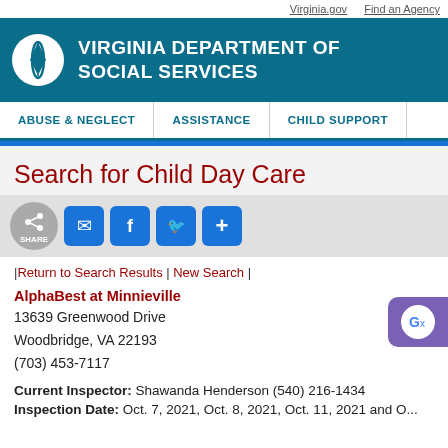Virginia.gov   Find an Agency
VIRGINIA DEPARTMENT OF SOCIAL SERVICES
ABUSE & NEGLECT   ASSISTANCE   CHILD SUPPORT
Search for Child Day Care
|Return to Search Results | New Search |
AlphaBest at Minnieville
13639 Greenwood Drive
Woodbridge, VA 22193
(703) 453-7117
Current Inspector: Shawanda Henderson (540) 216-1434
Inspection Date: Oct. 7, 2021, Oct. 8, 2021, Oct. 11, 2021 and O...